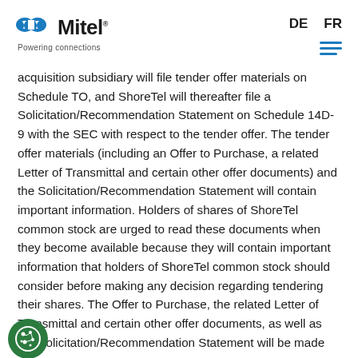Mitel — Powering connections | DE | FR
acquisition subsidiary will file tender offer materials on Schedule TO, and ShoreTel will thereafter file a Solicitation/Recommendation Statement on Schedule 14D-9 with the SEC with respect to the tender offer. The tender offer materials (including an Offer to Purchase, a related Letter of Transmittal and certain other offer documents) and the Solicitation/Recommendation Statement will contain important information. Holders of shares of ShoreTel common stock are urged to read these documents when they become available because they will contain important information that holders of ShoreTel common stock should consider before making any decision regarding tendering their shares. The Offer to Purchase, the related Letter of Transmittal and certain other offer documents, as well as the Solicitation/Recommendation Statement will be made